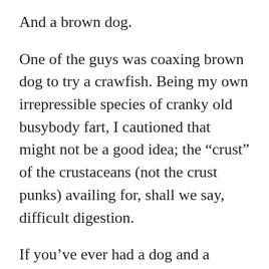And a brown dog.
One of the guys was coaxing brown dog to try a crawfish. Being my own irrepressible species of cranky old busybody fart, I cautioned that might not be a good idea; the “crust” of the crustaceans (not the crust punks) availing for, shall we say, difficult digestion.
If you’ve ever had a dog and a crawfish boil at the same time, you know what I’m talking about.
And so began a casual conversation. About dogs. About crawfish. One of them was born in